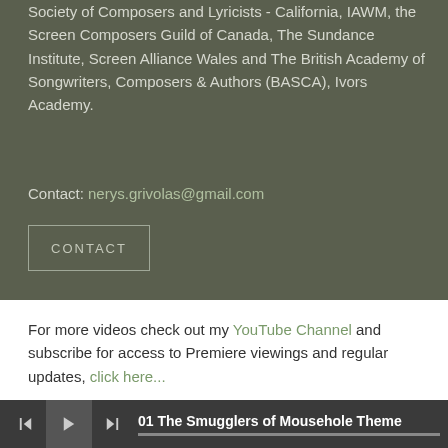Society of Composers and Lyricists - California, IAWM, the Screen Composers Guild of Canada, The Sundance Institute, Screen Alliance Wales and The British Academy of Songwriters, Composers & Authors (BASCA), Ivors Academy.
Contact: nerys.grivolas@gmail.com
CONTACT
For more videos check out my YouTube Channel and subscribe for access to Premiere viewings and regular updates, click here...
[Figure (other): Row of social media icons: Facebook, Instagram, LinkedIn, and others partially visible]
01 The Smugglers of Mousehole Theme